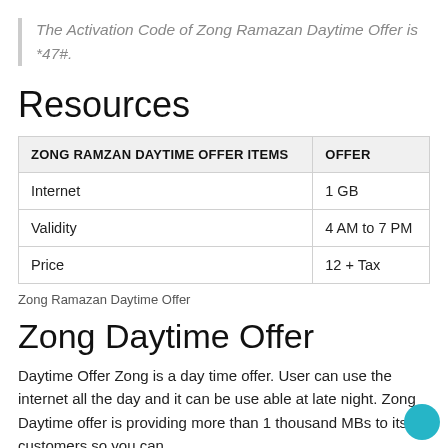The Activation Code of Zong Ramazan Daytime Offer is *47#.
Resources
| ZONG RAMZAN DAYTIME OFFER ITEMS | OFFER |
| --- | --- |
| Internet | 1 GB |
| Validity | 4 AM to 7 PM |
| Price | 12 + Tax |
Zong Ramazan Daytime Offer
Zong Daytime Offer
Daytime Offer Zong is a day time offer. User can use the internet all the day and it can be use able at late night. Zong Daytime offer is providing more than 1 thousand MBs to its customers so you can